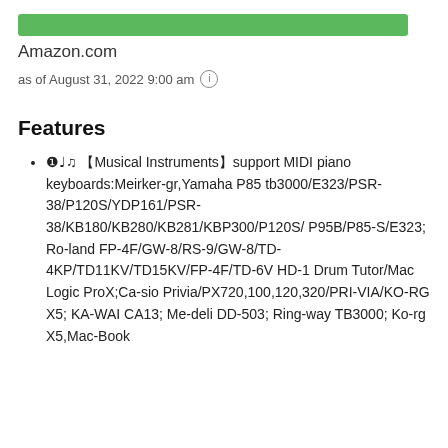[Figure (other): Green banner bar at top of page]
Amazon.com
as of August 31, 2022 9:00 am ℹ
Features
❶♩♫ 【Musical Instruments】support MIDI piano keyboards:Meirker-gr,Yamaha P85 tb3000/E323/PSR-38/P120S/YDP161/PSR-38/KB180/KB280/KB281/KBP300/P120S/ P95B/P85-S/E323; Roland FP-4F/GW-8/RS-9/GW-8/TD-4KP/TD11KV/TD15KV/FP-4F/TD-6V HD-1 Drum Tutor/Mac Logic ProX;Casio Privia/PX720,100,120,320/PRI-VIA/KORG X5; KA-WAI CA13; Me-deli DD-503; Ring-way TB3000; Ko-rg X5,MacBook